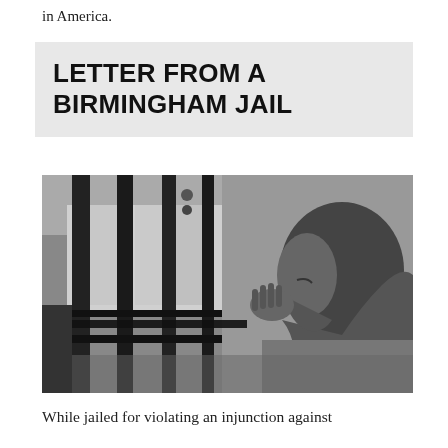in America.
LETTER FROM A BIRMINGHAM JAIL
[Figure (photo): Black and white photograph of a man (Martin Luther King Jr.) in profile, looking through jail bars, with one hand raised near his face.]
While jailed for violating an injunction against